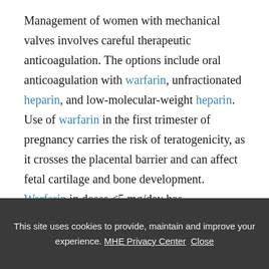Management of women with mechanical valves involves careful therapeutic anticoagulation. The options include oral anticoagulation with warfarin, unfractionated heparin, and low-molecular-weight heparin. Use of warfarin in the first trimester of pregnancy carries the risk of teratogenicity, as it crosses the placental barrier and can affect fetal cartilage and bone development. Warfarin in doses <5 mg/day has significantly lower risk of fetal complications. As warfarin crosses the placental
This site uses cookies to provide, maintain and improve your experience. MHE Privacy Center  Close